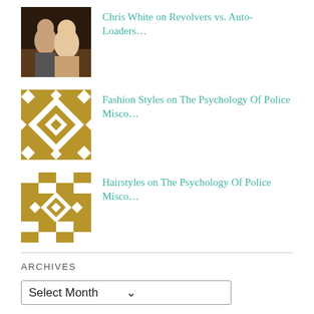Chris White on Revolvers vs. Auto-Loaders...
Fashion Styles on The Psychology Of Police Misco...
Hairstyles on The Psychology Of Police Misco...
ARCHIVES
Select Month
CATEGORIES
Narcis-Tard (1)